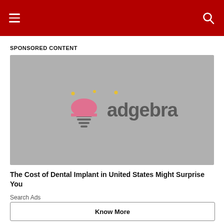Navigation header with hamburger menu and search icon
SPONSORED CONTENT
[Figure (logo): Adgebra advertisement banner with logo on grey background]
The Cost of Dental Implant in United States Might Surprise You
Search Ads
Know More